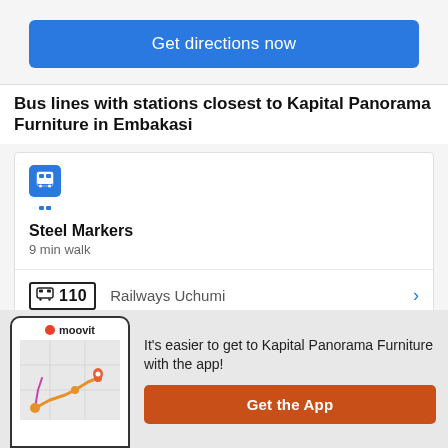Get directions now
Bus lines with stations closest to Kapital Panorama Furniture in Embakasi
Steel Markers
9 min walk
110  Railways Uchumi
110ATH  Railways Uchumi
It's easier to get to Kapital Panorama Furniture with the app!
Get the App